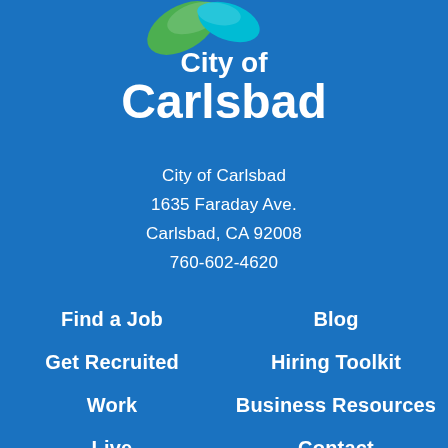[Figure (logo): City of Carlsbad logo with green and teal swirl above the text 'City of Carlsbad' in white on blue background]
City of Carlsbad
1635 Faraday Ave.
Carlsbad, CA 92008
760-602-4620
Find a Job
Blog
Get Recruited
Hiring Toolkit
Work
Business Resources
Live
Contact
Explore
Carlsbad Commuter